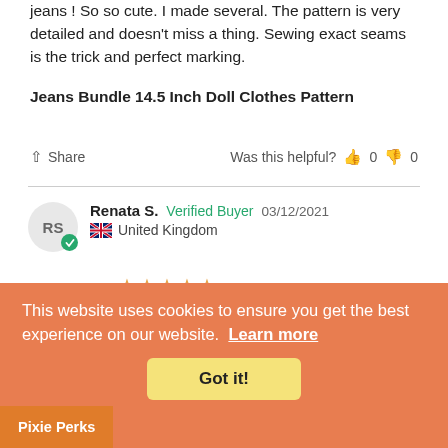jeans ! So so cute. I made several. The pattern is very detailed and doesn't miss a thing.  Sewing exact seams is the trick and perfect marking.
Jeans Bundle 14.5 Inch Doll Clothes Pattern
Share   Was this helpful?  👍 0  👎 0
Renata S.  Verified Buyer  03/12/2021  🇬🇧 United Kingdom
★★★★★
Jeans Bundle 14.5 Inch Doll
I enjoyed making these jeans for a Willie Wishers doll. The pattern was very well written and I fo...easy to follow.
...as Bundle 14.5 Inch Doll Clothes Pattern
This website uses cookies to ensure you get the best experience on our website. Learn more
Got it!
Pixie Perks